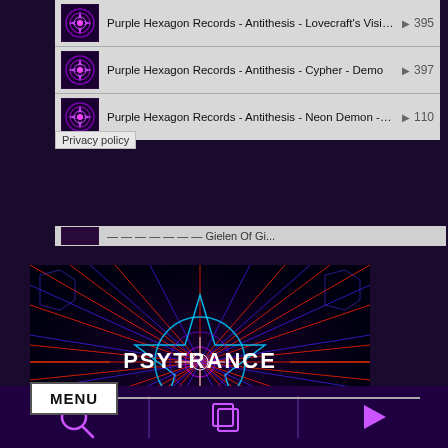Purple Hexagon Records - Antithesis - Lovecraft's Visio... ▶ 395
Purple Hexagon Records - Antithesis - Cypher - Demo ▶ 397
Purple Hexagon Records - Antithesis - Neon Demon -de... ▶ 110
Privacy policy
[Figure (illustration): Psytrance psychedelic artwork: symmetrical neon fractal pattern with red, blue and purple laser-like lines on black background, with 'PSYTRANCE' text in white bold letters in the center]
MENU
[Figure (logo): Partial reCAPTCHA logo in bottom right corner]
[Figure (infographic): Bottom navigation bar with search icon, copy/layers icon, and play button icon in purple on dark purple background]